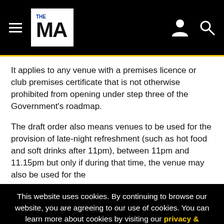THE MA navigation header with logo, user icon, and search icon
It applies to any venue with a premises licence or club premises certificate that is not otherwise prohibited from opening under step three of the Government's roadmap.
The draft order also means venues to be used for the provision of late-night refreshment (such as hot food and soft drinks after 11pm), between 11pm and 11.15pm but only if during that time, the venue may also be used for the
This website uses cookies. By continuing to browse our website, you are agreeing to our use of cookies. You can learn more about cookies by visiting our privacy & cookies policy page.
I Agree